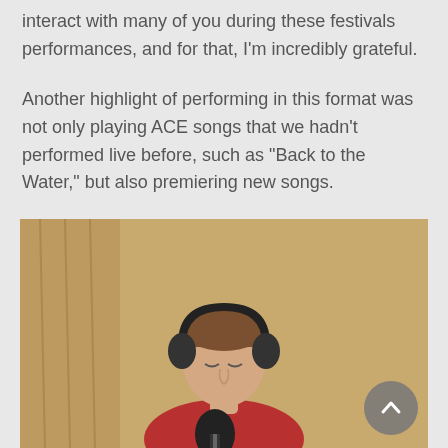interact with many of you during these festivals performances, and for that, I'm incredibly grateful.
Another highlight of performing in this format was not only playing ACE songs that we hadn't performed live before, such as “Back to the Water,” but also premiering new songs.
[Figure (photo): A man wearing headphones and a red shirt, leaning forward toward a microphone in what appears to be a recording studio setting with a warm brownish background.]